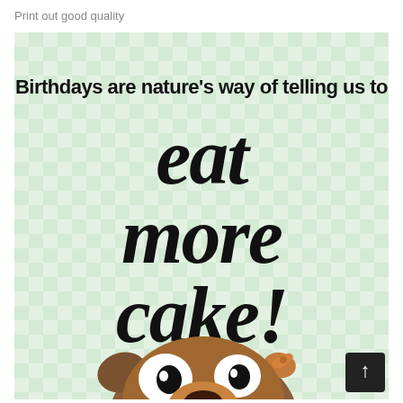Print out good quality
[Figure (illustration): Birthday card with green gingham/checkered background. Large playful handwritten-style text reads 'Birthdays are nature's way of telling us to eat more cake!' with a cartoon brown bulldog character at the bottom with wide eyes and open mouth showing teeth.]